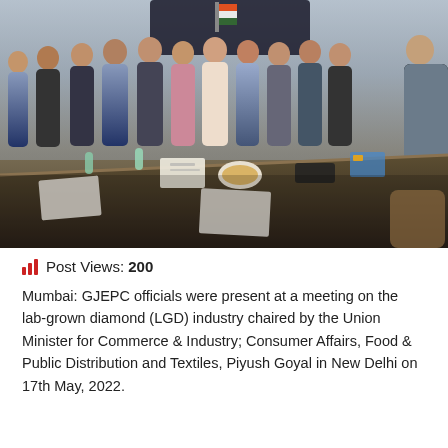[Figure (photo): Group photo of GJEPC officials and others standing around a conference room table at a meeting on the lab-grown diamond (LGD) industry, New Delhi, 17th May 2022. Documents, water bottles, and food items visible on the table.]
Post Views: 200
Mumbai: GJEPC officials were present at a meeting on the lab-grown diamond (LGD) industry chaired by the Union Minister for Commerce & Industry; Consumer Affairs, Food & Public Distribution and Textiles, Piyush Goyal in New Delhi on 17th May, 2022.